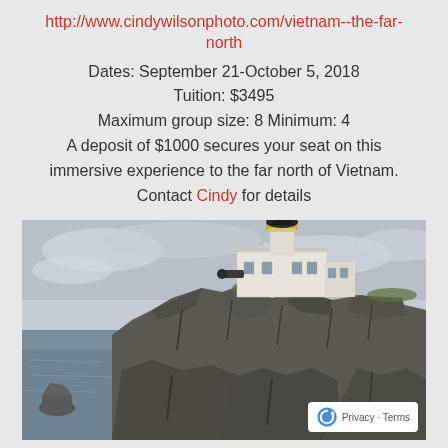http://www.cindywilsonphoto.com/vietnam--the-far-north
Dates: September 21-October 5, 2018
Tuition: $3495
Maximum group size: 8 Minimum: 4
A deposit of $1000 secures your seat on this immersive experience to the far north of Vietnam.
Contact Cindy for details
[Figure (photo): A coastal rocky cliff scene with a white lighthouse building on top of rugged dark rocks, ocean water visible on the left, overcast sky. A reCAPTCHA privacy badge appears in the bottom right corner.]